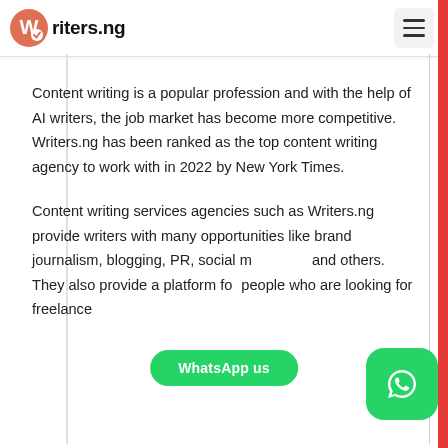Writers.ng
Content writing is a popular profession and with the help of AI writers, the job market has become more competitive. Writers.ng has been ranked as the top content writing agency to work with in 2022 by New York Times.
Content writing services agencies such as Writers.ng provide writers with many opportunities like brand journalism, blogging, PR, social media and others. They also provide a platform for people who are looking for freelance